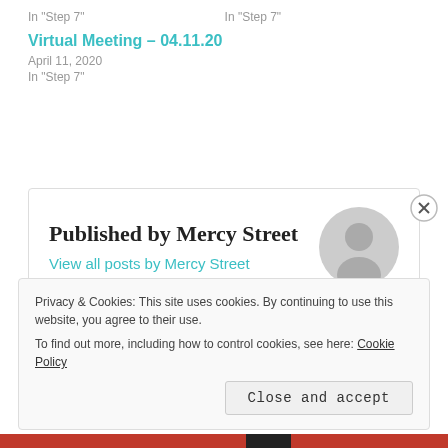In "Step 7"    In "Step 7"
Virtual Meeting – 04.11.20
April 11, 2020
In "Step 7"
Published by Mercy Street
View all posts by Mercy Street
Privacy & Cookies: This site uses cookies. By continuing to use this website, you agree to their use.
To find out more, including how to control cookies, see here: Cookie Policy
Close and accept